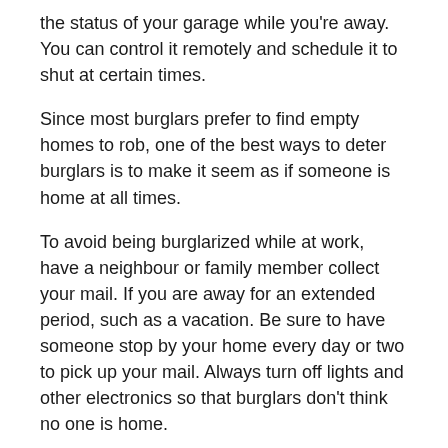the status of your garage while you're away. You can control it remotely and schedule it to shut at certain times.
Since most burglars prefer to find empty homes to rob, one of the best ways to deter burglars is to make it seem as if someone is home at all times.
To avoid being burglarized while at work, have a neighbour or family member collect your mail. If you are away for an extended period, such as a vacation. Be sure to have someone stop by your home every day or two to pick up your mail. Always turn off lights and other electronics so that burglars don't think no one is home.
You can program smart lights to turn on and off periodically to create a convincing effect that someone is home. Apart from all these precautions, buying a home emergency cover is a good way to